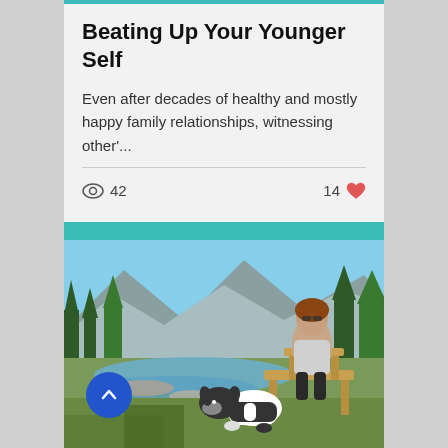Beating Up Your Younger Self
Even after decades of healthy and mostly happy family relationships, witnessing other'...
42 views  14 likes
[Figure (photo): A woman with sunglasses sitting outdoors near a river with a border collie dog on her lap, mountains and trees in background, with a blue back-to-top button overlay]